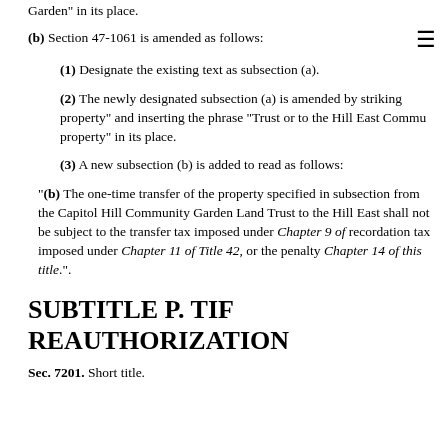Garden" in its place.
(b) Section 47-1061 is amended as follows:
(1) Designate the existing text as subsection (a).
(2) The newly designated subsection (a) is amended by striking property" and inserting the phrase "Trust or to the Hill East Community property" in its place.
(3) A new subsection (b) is added to read as follows:
"(b) The one-time transfer of the property specified in subsection from the Capitol Hill Community Garden Land Trust to the Hill East shall not be subject to the transfer tax imposed under Chapter 9 of recordation tax imposed under Chapter 11 of Title 42, or the penalty Chapter 14 of this title.".
SUBTITLE P. TIF REAUTHORIZATION
Sec. 7201. Short title.